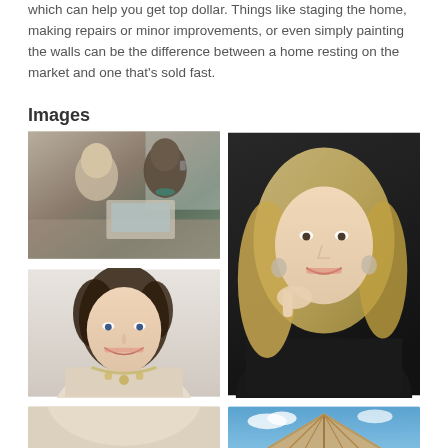which can help you get top dollar. Things like staging the home, making repairs or minor improvements, or even simply painting the walls can be the difference between a home resting on the market and one that's sold fast.
Images
[Figure (photo): Two women sitting together, one on phone, one on laptop, working at a table]
[Figure (photo): Professional headshot of a blonde woman in black top against dark background, smiling with hand near face]
[Figure (photo): Professional headshot of a brunette woman in cream top with necklace, smiling against light background]
[Figure (photo): House under construction showing roof framing against blue sky]